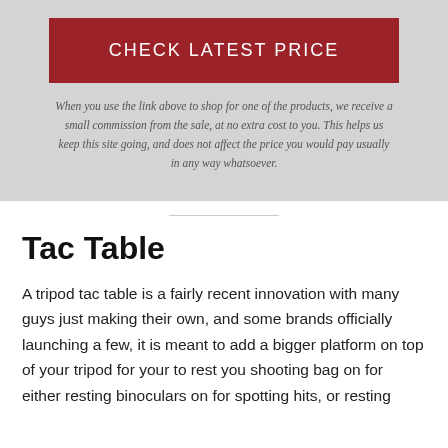[Figure (other): Dark red button with text CHECK LATEST PRICE on a light gray background]
When you use the link above to shop for one of the products, we receive a small commission from the sale, at no extra cost to you. This helps us keep this site going, and does not affect the price you would pay usually in any way whatsoever.
Tac Table
A tripod tac table is a fairly recent innovation with many guys just making their own, and some brands officially launching a few, it is meant to add a bigger platform on top of your tripod for your to rest you shooting bag on for either resting binoculars on for spotting hits, or resting